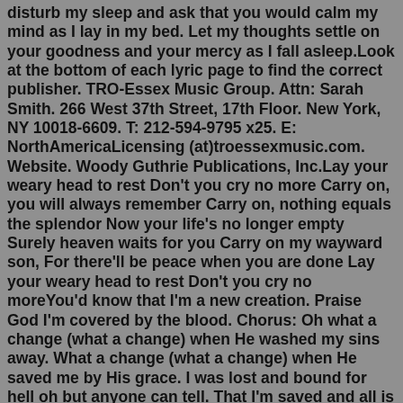disturb my sleep and ask that you would calm my mind as I lay in my bed. Let my thoughts settle on your goodness and your mercy as I fall asleep.Look at the bottom of each lyric page to find the correct publisher. TRO-Essex Music Group. Attn: Sarah Smith. 266 West 37th Street, 17th Floor. New York, NY 10018-6609. T: 212-594-9795 x25. E: NorthAmericaLicensing (at)troessexmusic.com. Website. Woody Guthrie Publications, Inc.Lay your weary head to rest Don't you cry no more Carry on, you will always remember Carry on, nothing equals the splendor Now your life's no longer empty Surely heaven waits for you Carry on my wayward son, For there'll be peace when you are done Lay your weary head to rest Don't you cry no moreYou'd know that I'm a new creation. Praise God I'm covered by the blood. Chorus: Oh what a change (what a change) when He washed my sins away. What a change (what a change) when He saved me by His grace. I was lost and bound for hell oh but anyone can tell. That I'm saved and all is well oh what a change."Lay Me